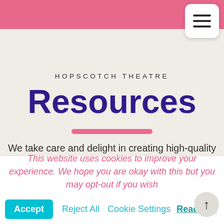HOPSCOTCH THEATRE
Resources
We take care and delight in creating high-quality creative learning resources and education packs that are simple and effective to use in classrooms. They work as stand-alone resources or as great accompaniments to the enriching theatre projects for
This website uses cookies to improve your experience. We hope you are okay with this but you may opt-out if you wish
Accept   Reject All   Cookie Settings   Read Mo.